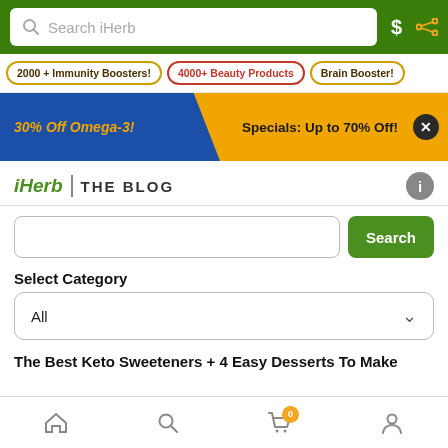Search iHerb
2000 + Immunity Boosters!   4000+ Beauty Products   Brain Booster!
[Figure (infographic): Promotional banner: 30% Off Omega-3! on blue background with yellow diagonal, Specials: Up to 70% Off! on yellow background]
iHerb | THE BLOG
Search input with Search button
Select Category
All (dropdown)
The Best Keto Sweeteners + 4 Easy Desserts To Make
Home | Search | Cart (0) | Account